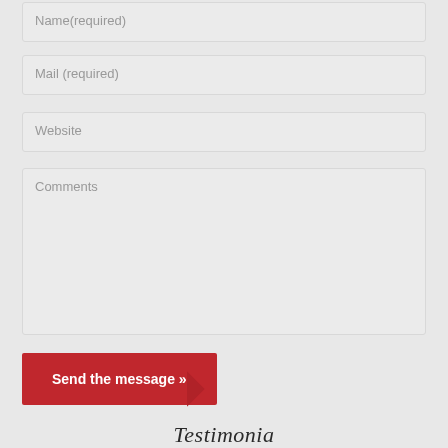Name(required)
Mail (required)
Website
Comments
Send the message »
Testimonia